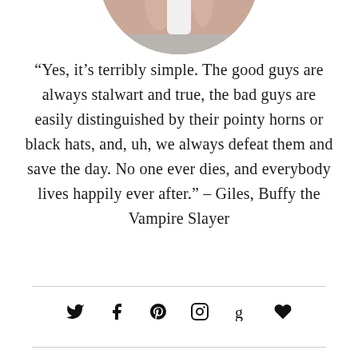[Figure (photo): Cropped circular photo showing a hand holding a white cylindrical object, visible only at the top of the page as a partial circle crop]
“Yes, it’s terribly simple. The good guys are always stalwart and true, the bad guys are easily distinguished by their pointy horns or black hats, and, uh, we always defeat them and save the day. No one ever dies, and everybody lives happily ever after.” – Giles, Buffy the Vampire Slayer
[Figure (other): Row of social media icons: Twitter, Facebook, Pinterest, Instagram, Goodreads, and a heart/favorite icon]